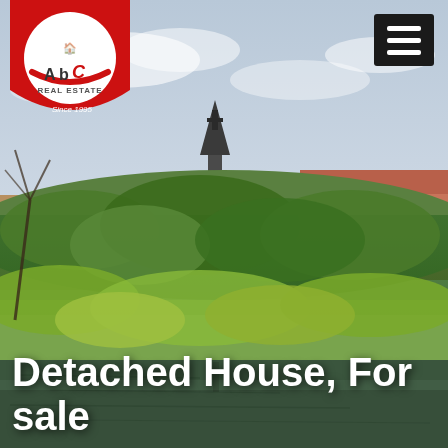[Figure (photo): Scenic view of a European town with red-roofed buildings, a church spire, lush green trees, and a lake or river in the foreground reflecting the scenery. ABC Real Estate logo overlay in top left.]
Detached House, For sale